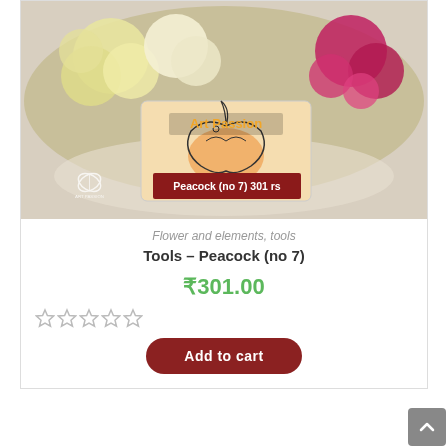[Figure (photo): Product photo of a peacock-design stamp/tool (Art Passion brand) surrounded by silk flowers, with a dark red label reading 'Peacock (no 7) 301 rs' and the Art Passion butterfly logo watermark.]
Flower and elements, tools
Tools – Peacock (no 7)
₹301.00
[Figure (other): Five empty star rating icons (no fill)]
Add to cart